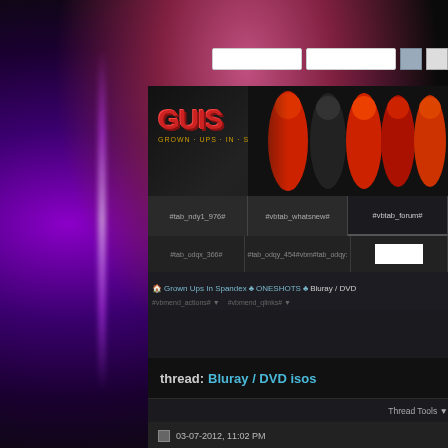[Figure (screenshot): Screenshot of a forum website called GUIS (Grown Ups In Spandex) showing a thread titled 'Bluray / DVD isos'. The page has a dark theme with a purple/pink glowing background. Navigation tabs visible including #tab_ndy1_976#, #vbtab_whatsnew#, #vbtab_forum#. Breadcrumb shows Grown Ups In Spandex > ONESHOTS > Bluray / DVD isos. Post by user 'Shir' (Administrator) with timestamp 03-07-2012, 11:02 PM. Post content mentions Bluray / DVD isos and Goseiger Gokaiger.]